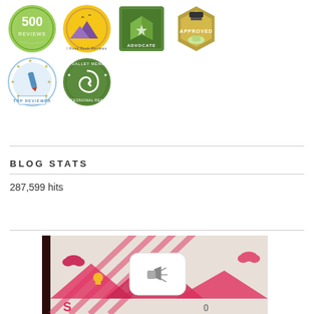[Figure (illustration): Six circular/hexagonal badge icons: 500 Reviews (green wreath), I Read Book Reviews (yellow/purple), Advocate (green book), Approved (hexagon stamp), Top Reviewer (blue star circle), NetGalley Member Professional Reader (green circle)]
BLOG STATS
287,599 hits
[Figure (illustration): Book cover with pink/magenta design showing a megaphone/speaker icon with social media and technology related icons, partially visible at bottom of page]